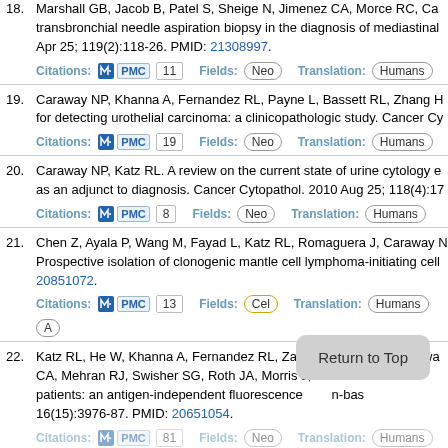18. Marshall GB, Jacob B, Patel S, Sheige N, Jimenez CA, Morce RC, et al. transbronchial needle aspiration biopsy in the diagnosis of mediastinal. Apr 25; 119(2):118-26. PMID: 21308997. Citations: PMC 11 Fields: Neo Translation: Humans
19. Caraway NP, Khanna A, Fernandez RL, Payne L, Bassett RL, Zhang H, for detecting urothelial carcinoma: a clinicopathologic study. Cancer Cy Citations: PMC 19 Fields: Neo Translation: Humans
20. Caraway NP, Katz RL. A review on the current state of urine cytology and as an adjunct to diagnosis. Cancer Cytopathol. 2010 Aug 25; 118(4):17 Citations: PMC 8 Fields: Neo Translation: Humans
21. Chen Z, Ayala P, Wang M, Fayad L, Katz RL, Romaguera J, Caraway N. Prospective isolation of clonogenic mantle cell lymphoma-initiating cell 20851072. Citations: PMC 13 Fields: Cel Translation: Humans A
22. Katz RL, He W, Khanna A, Fernandez RL, Zaidi TM, Krebs M, Caraway CA, Mehran RJ, Swisher SG, Roth JA, Morris J, in R. patients: an antigen-independent fluorescence n-based 16(15):3976-87. PMID: 20651054. Citations: PMC 81 Fields: Neo Translation: Humans